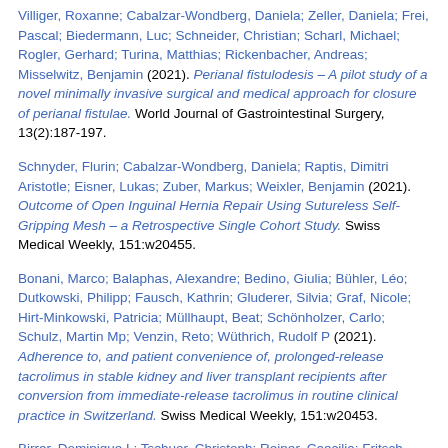Villiger, Roxanne; Cabalzar-Wondberg, Daniela; Zeller, Daniela; Frei, Pascal; Biedermann, Luc; Schneider, Christian; Scharl, Michael; Rogler, Gerhard; Turina, Matthias; Rickenbacher, Andreas; Misselwitz, Benjamin (2021). Perianal fistulodesis – A pilot study of a novel minimally invasive surgical and medical approach for closure of perianal fistulae. World Journal of Gastrointestinal Surgery, 13(2):187-197.
Schnyder, Flurin; Cabalzar-Wondberg, Daniela; Raptis, Dimitri Aristotle; Eisner, Lukas; Zuber, Markus; Weixler, Benjamin (2021). Outcome of Open Inguinal Hernia Repair Using Sutureless Self-Gripping Mesh – a Retrospective Single Cohort Study. Swiss Medical Weekly, 151:w20455.
Bonani, Marco; Balaphas, Alexandre; Bedino, Giulia; Bühler, Léo; Dutkowski, Philipp; Fausch, Kathrin; Gluderer, Silvia; Graf, Nicole; Hirt-Minkowski, Patricia; Müllhaupt, Beat; Schönholzer, Carlo; Schulz, Martin Mp; Venzin, Reto; Wüthrich, Rudolf P (2021). Adherence to, and patient convenience of, prolonged-release tacrolimus in stable kidney and liver transplant recipients after conversion from immediate-release tacrolimus in routine clinical practice in Switzerland. Swiss Medical Weekly, 151:w20453.
Birrer, Dominique L; Tschuor, Christoph; Reiner, Caecilia; Fritsch,